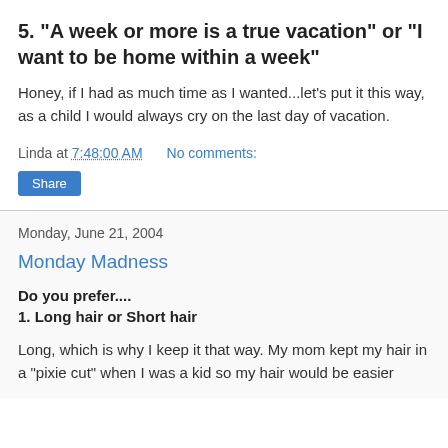5. "A week or more is a true vacation" or "I want to be home within a week"
Honey, if I had as much time as I wanted...let's put it this way, as a child I would always cry on the last day of vacation.
Linda at 7:48:00 AM    No comments:
Share
Monday, June 21, 2004
Monday Madness
Do you prefer....
1. Long hair or Short hair
Long, which is why I keep it that way. My mom kept my hair in a "pixie cut" when I was a kid so my hair would be easier